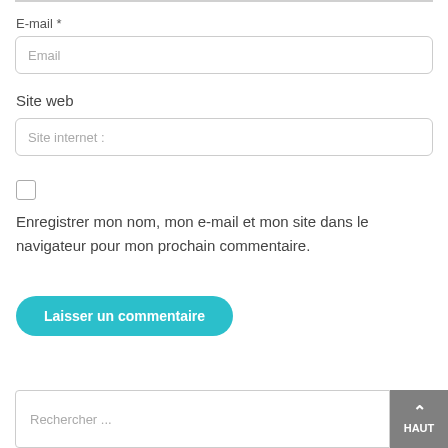E-mail *
[Figure (screenshot): Email input field with placeholder text 'Email']
Site web
[Figure (screenshot): Site web input field with placeholder text 'Site internet :']
[Figure (screenshot): Unchecked checkbox]
Enregistrer mon nom, mon e-mail et mon site dans le navigateur pour mon prochain commentaire.
Laisser un commentaire
[Figure (screenshot): Search input field with placeholder 'Rechercher ...' and HAUT button]